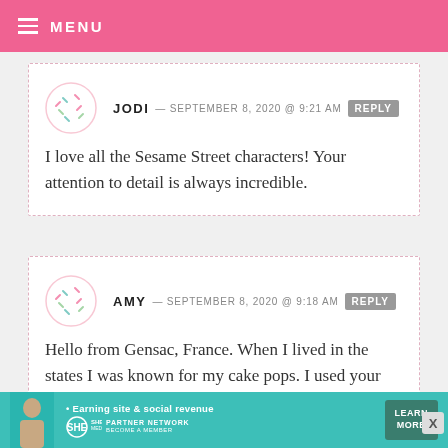MENU
JODI — SEPTEMBER 8, 2020 @ 9:21 AM  REPLY
I love all the Sesame Street characters! Your attention to detail is always incredible.
AMY — SEPTEMBER 8, 2020 @ 9:18 AM  REPLY
Hello from Gensac, France. When I lived in the states I was known for my cake pops. I used your method and
[Figure (infographic): SHE Media Partner Network advertisement banner with woman photo, text 'Earning site & social revenue', SHE logo, and 'LEARN MORE' button]